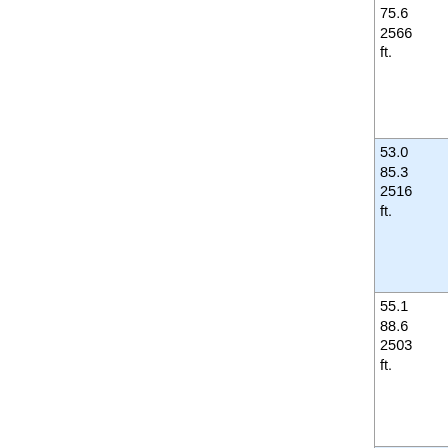| Miles/km/ft | Location |
| --- | --- |
| 75.6
2566
ft. | Arnold,KS. |
| 53.0
85.3
2516
ft. | Ransom,KS. |
| 55.1
88.6
2503
ft. | Junction US Highway 28 |
| 63.4
102.0
2415
ft. | Brownell,K |
| 64.0
103.0
2421
ft. | Junction State Highway 47 |
| 76.5
123.1
2133
ft. | McCraken,K |